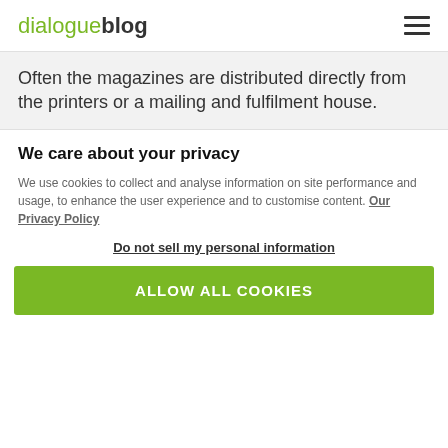dialogue blog
Often the magazines are distributed directly from the printers or a mailing and fulfilment house.
We care about your privacy
We use cookies to collect and analyse information on site performance and usage, to enhance the user experience and to customise content. Our Privacy Policy
Do not sell my personal information
ALLOW ALL COOKIES